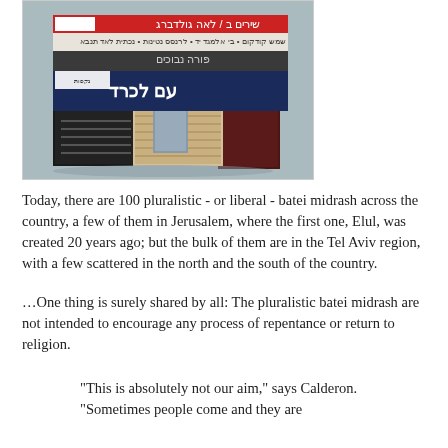[Figure (photo): A stack of books with Hebrew text on their spines and covers, arranged on a light blue/grey surface. Books include blue hardcovers and a small black book at the bottom.]
Today, there are 100 pluralistic - or liberal - batei midrash across the country, a few of them in Jerusalem, where the first one, Elul, was created 20 years ago; but the bulk of them are in the Tel Aviv region, with a few scattered in the north and the south of the country.
…One thing is surely shared by all: The pluralistic batei midrash are not intended to encourage any process of repentance or return to religion.
"This is absolutely not our aim," says Calderon. "Sometimes people come and they are